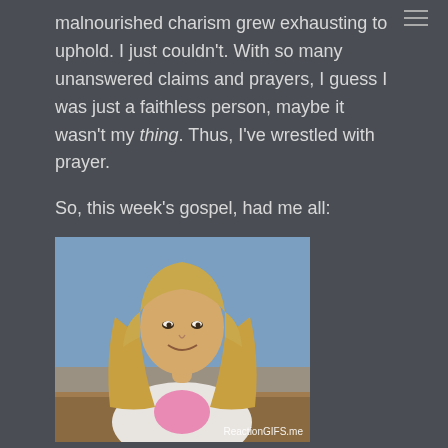malnourished charism grew exhausting to uphold. I just couldn't. With so many unanswered claims and prayers, I guess I was just a faithless person, maybe it wasn't my thing. Thus, I've wrestled with prayer.
So, this week's gospel, had me all:
[Figure (photo): A smiling blonde woman in a white blazer with pink top, appearing to be in a TV interview setting. Watermark reads 'ReactionGIFS.me']
I'm truly human: I must both laugh and cry when